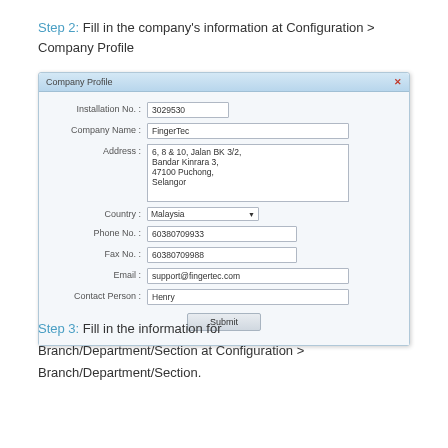Step 2: Fill in the company's information at Configuration > Company Profile
[Figure (screenshot): Company Profile dialog box showing form fields: Installation No. (3029530), Company Name (FingerTec), Address (6, 8 & 10, Jalan BK 3/2, Bandar Kinrara 3, 47100 Puchong, Selangor), Country (Malaysia), Phone No. (60380709933), Fax No. (60380709988), Email (support@fingertec.com), Contact Person (Henry), and a Submit button.]
Step 3: Fill in the information for Branch/Department/Section at Configuration > Branch/Department/Section.